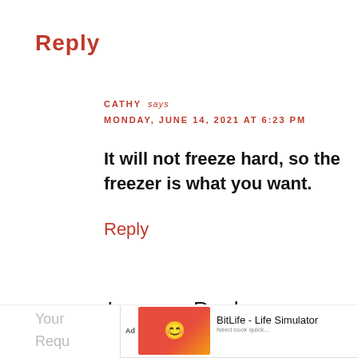Reply
CATHY says
MONDAY, JUNE 14, 2021 AT 6:23 PM
It will not freeze hard, so the freezer is what you want.
Reply
Leave a Reply
Your ... ed.
Requ...
[Figure (screenshot): Mobile advertisement banner for BitLife - Life Simulator app with Install button]